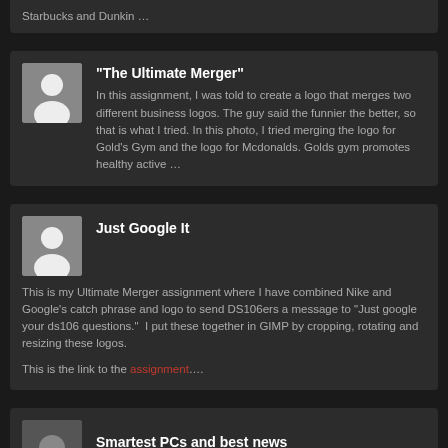Starbucks and Dunkin …
“The Ultimate Merger”
In this assignment, I was told to create a logo that merges two different business logos. The guy said the funnier the better, so that is what I tried. In this photo, I tried merging the logo for Gold’s Gym and the logo for Mcdonalds. Golds gym promotes healthy active …
Just Google It
This is my Ultimate Merger assignment where I have combined Nike and Google’s catch phrase and logo to send DS106ers a message to “Just google your ds106 questions.”  I put these together in GIMP by cropping, rotating and resizing these logos.
This is the link to the assignment….
Smartest PCs and best news